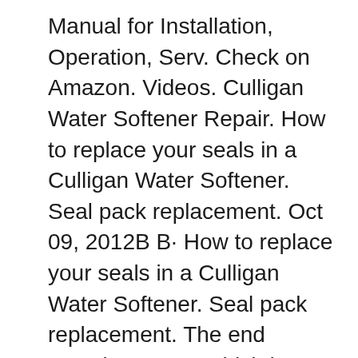Manual for Installation, Operation, Serv. Check on Amazon. Videos. Culligan Water Softener Repair. How to replace your seals in a Culligan Water Softener. Seal pack replacement. Oct 09, 2012В В· How to replace your seals in a Culligan Water Softener. Seal pack replacement. The end contains a URL which is a forum. The post/thread has a link to a very good manual вЂ¦
Oct 28, 2015В В· Culligan water softener no soft water and salt tank filling with water in York, Hanover, Gettysburg, Littlestown, Carlisle, Harrisburg Pennsylvania Culligan water softener no soft water and can't Jan 21, 2014В В· I have a Culligan Mark 59 that is releasing water into the drain when it is sitting idle. If I bypass the system the water stops. What is causing this? I know